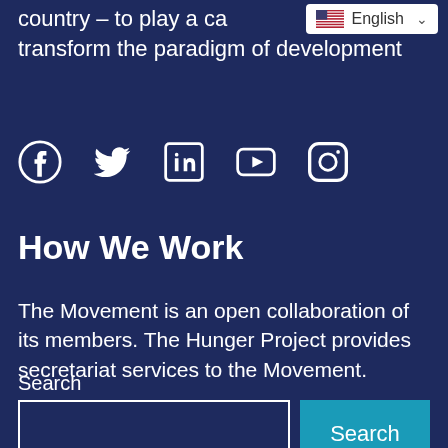country – to play a cat… transform the paradigm of development
[Figure (infographic): Social media icons: Facebook, Twitter, LinkedIn, YouTube, Instagram]
How We Work
The Movement is an open collaboration of its members. The Hunger Project provides secretariat services to the Movement.
Search
[Figure (other): Search input box and Search button]